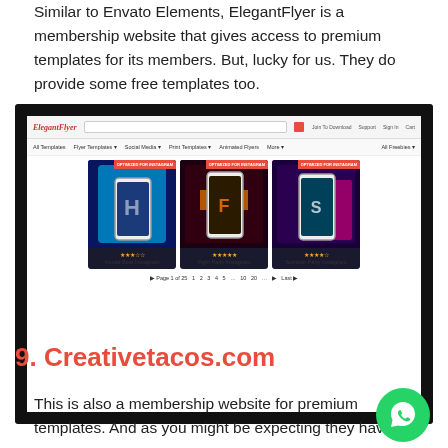Similar to Envato Elements, ElegantFlyer is a membership website that gives access to premium templates for its members. But, lucky for us. They do provide some free templates too.
[Figure (screenshot): Screenshot of ElegantFlyer website showing template browsing page with three Instagram template cards, each with phone mockups and star ratings.]
9. Creativetacos.com
This is also a membership website for premium templates. And as you might be expecting they have